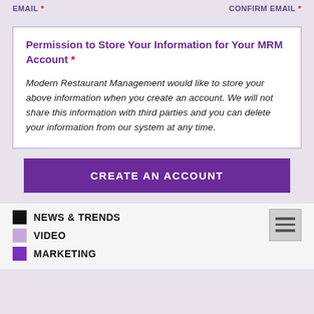EMAIL * CONFIRM EMAIL *
Permission to Store Your Information for Your MRM Account *

Modern Restaurant Management would like to store your above information when you create an account. We will not share this information with third parties and you can delete your information from our system at any time.
CREATE AN ACCOUNT
NEWS & TRENDS
VIDEO
MARKETING